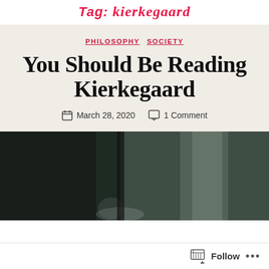Tag: kierkegaard
PHILOSOPHY  SOCIETY
You Should Be Reading Kierkegaard
March 28, 2020  1 Comment
[Figure (photo): Black and white historical photograph, dark tones, partial figure visible]
Follow  ...